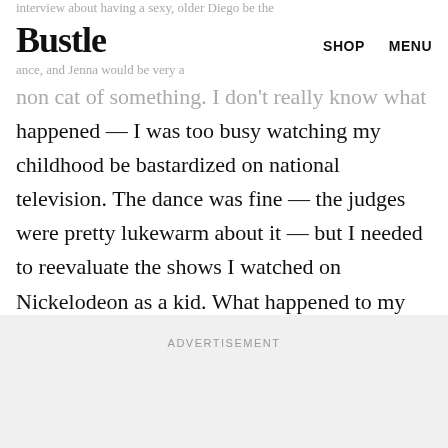Bustle | SHOP  MENU
non cat of something. I don't really know what happened — I was too busy watching my childhood be bastardized on national television. The dance was fine — the judges were pretty lukewarm about it — but I needed to reevaluate the shows I watched on Nickelodeon as a kid. What happened to my childhood, you guys? Where are the days of simple daydreams and Nick Junior?
ADVERTISEMENT